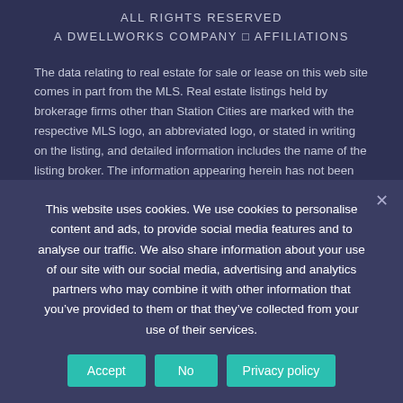ALL RIGHTS RESERVED
A DWELLWORKS COMPANY □ AFFILIATIONS
The data relating to real estate for sale or lease on this web site comes in part from the MLS. Real estate listings held by brokerage firms other than Station Cities are marked with the respective MLS logo, an abbreviated logo, or stated in writing on the listing, and detailed information includes the name of the listing broker. The information appearing herein has not been verified by any MLS, Board of Realtors, or by any individual(s) who may be affiliated with said entities, all of whom hereby collectively and severally disclaim any and all responsibility for the accuracy of the information appearing on this web site, at any time or
This website uses cookies. We use cookies to personalise content and ads, to provide social media features and to analyse our traffic. We also share information about your use of our site with our social media, advertising and analytics partners who may combine it with other information that you've provided to them or that they've collected from your use of their services.
Accept   No   Privacy policy